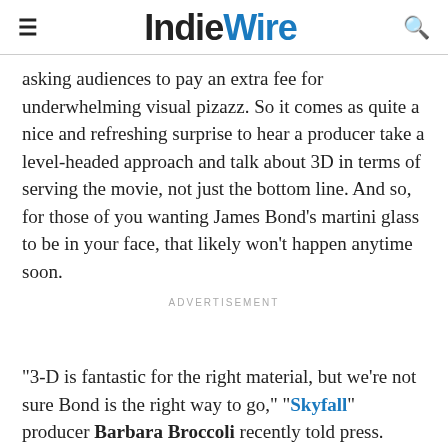IndieWire
asking audiences to pay an extra fee for underwhelming visual pizazz. So it comes as quite a nice and refreshing surprise to hear a producer take a level-headed approach and talk about 3D in terms of serving the movie, not just the bottom line. And so, for those of you wanting James Bond's martini glass to be in your face, that likely won't happen anytime soon.
ADVERTISEMENT
“3-D is fantastic for the right material, but we’re not sure Bond is the right way to go,” “Skyfall” producer Barbara Broccoli recently told press. “With our movies, there’s a lot of challenges to 3-D, particularly when you’ve got a lot of action and a lot of quick cutting.”